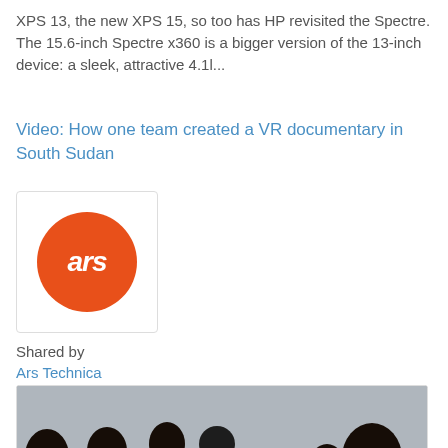XPS 13, the new XPS 15, so too has HP revisited the Spectre. The 15.6-inch Spectre x360 is a bigger version of the 13-inch device: a sleek, attractive 4.1l...
Video: How one team created a VR documentary in South Sudan
[Figure (logo): Ars Technica orange circle logo with 'ars' text in white italic]
Shared by
Ars Technica
[Figure (photo): Photo of two people crouching over camera equipment outdoors, surrounded by a group of African children and adults watching them work.]